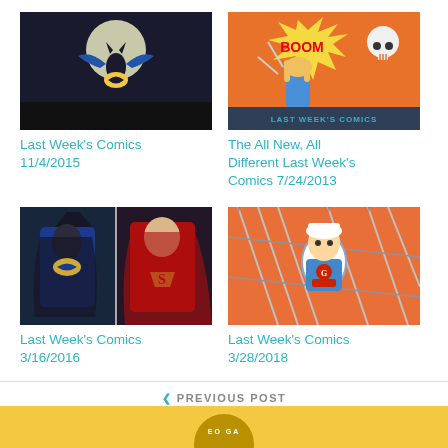[Figure (illustration): Batman comic cover with dark blue bat symbol against moon]
Last Week's Comics 11/4/2015
[Figure (illustration): Boom Studios comic cover with blonde character and skull, orange background with Last Week's Comics text]
The All New, All Different Last Week's Comics 7/24/2013
[Figure (illustration): Superman and Batman comics DC heroes collage]
Last Week's Comics 3/16/2016
[Figure (illustration): Animated style character with blue outfit surrounded by spears/arrows on orange background]
Last Week's Comics 3/28/2018
< PREVIOUS POST
Unwinnable Presents: Unlistenable Episode 63 – Corvette Summer
NEXT POST >
You're the Worst: The Show that's Nearly as Good as its Theme Tune
EO GA